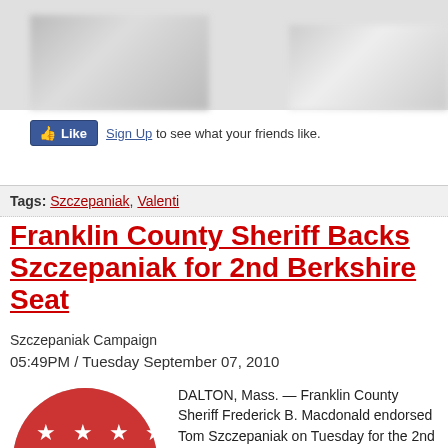[Figure (photo): Blurred/redacted photographs at top of page]
[Figure (infographic): Facebook Like button with 'Sign Up to see what your friends like.']
Tags: Szczepaniak, Valenti
Franklin County Sheriff Backs Szczepaniak for 2nd Berkshire Seat
Szczepaniak Campaign
05:49PM / Tuesday September 07, 2010
[Figure (logo): 2nd Berkshire District campaign button logo — red circle with white stars on top half, blue numeral 2 and 'Berkshire 2nd District' text on white lower half]
DALTON, Mass. — Franklin County Sheriff Frederick B. Macdonald endorsed Tom Szczepaniak on Tuesday for the 2nd Berkshire District state